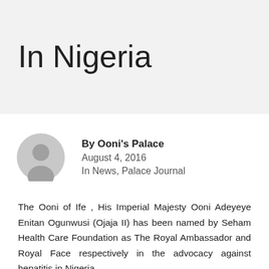In Nigeria
By Ooni's Palace
August 4, 2016
In News, Palace Journal
The Ooni of Ife , His Imperial Majesty Ooni Adeyeye Enitan Ogunwusi (Ojaja II) has been named by Seham Health Care Foundation as The Royal Ambassador and Royal Face respectively in the advocacy against hepatitis in Nigeria.